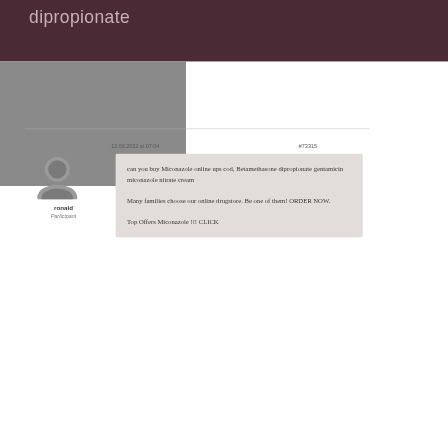dipropionate
[Figure (illustration): Gray avatar/profile icon (silhouette of a person)]
ronald
Participant
12.06.2022 at 07:04
#73315
can you buy Miconazole online ups cod, Betamethasone dipropionate gentamicin miconazole nitrate cream

Many families choose our online drugstore. Be one of them! ORDER NOW.

Top Offers Miconazole !!! CLICK